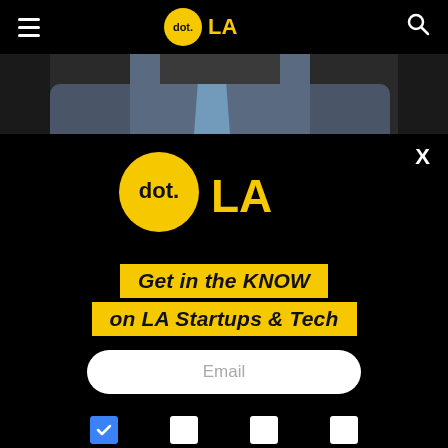dot.LA navigation bar with hamburger menu and search icon
[Figure (photo): Person in grey suit with blue tie, cropped to show chest/shoulder area only]
[Figure (logo): dot.LA logo — yellow circle with 'dot.' in black, 'LA' in yellow bold text to the right]
Get in the KNOW on LA Startups & Tech
Email
[Figure (other): Row of four checkboxes: first is blue/checked, remaining three are white/unchecked]